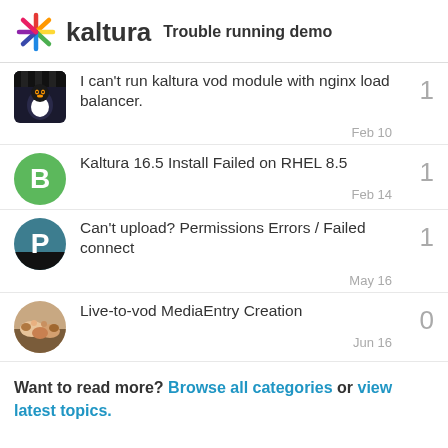kaltura — Trouble running demo
I can't run kaltura vod module with nginx load balancer. — 1 — Feb 10
Kaltura 16.5 Install Failed on RHEL 8.5 — 1 — Feb 14
Can't upload? Permissions Errors / Failed connect — 1 — May 16
Live-to-vod MediaEntry Creation — 0 — Jun 16
Want to read more? Browse all categories or view latest topics.